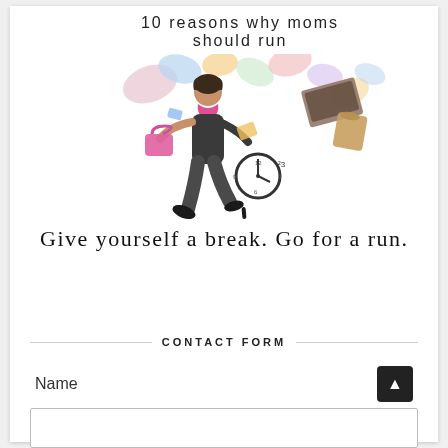[Figure (illustration): Illustration of a woman running with various objects flying around her, clock, books, bags. Text overlay reads '10 reasons why moms should run'. Watermark: www.momshomerun... on the left side rotated vertically.]
Give yourself a break. Go for a run.
CONTACT FORM
Name